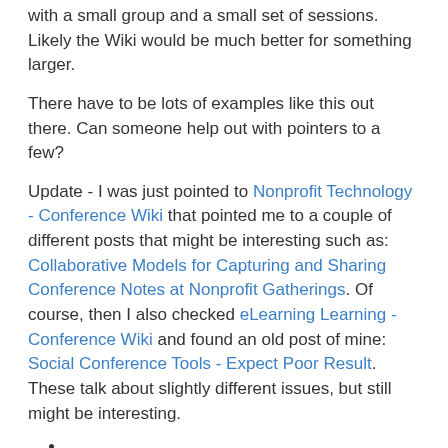with a small group and a small set of sessions. Likely the Wiki would be much better for something larger.
There have to be lots of examples like this out there. Can someone help out with pointers to a few?
Update - I was just pointed to Nonprofit Technology - Conference Wiki that pointed me to a couple of different posts that might be interesting such as: Collaborative Models for Capturing and Sharing Conference Notes at Nonprofit Gatherings. Of course, then I also checked eLearning Learning - Conference Wiki and found an old post of mine: Social Conference Tools - Expect Poor Result. These talk about slightly different issues, but still might be interesting.
Tony Karrer at 12:54 PM
Share